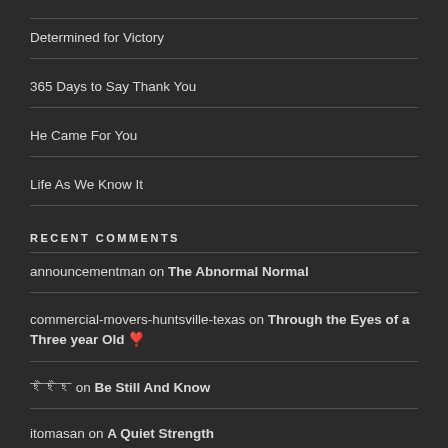Determined for Victory
365 Days to Say Thank You
He Came For You
Life As We Know It
RECENT COMMENTS
announcementman on The Abnormal Normal
commercial-movers-huntsville-texas on Through the Eyes of a Three year Old ❣
꧁꧂꧁꧂꧁ on Be Still And Know
itomasan on A Quiet Strength